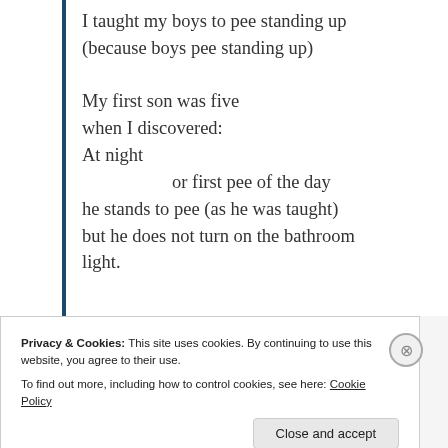I taught my boys to pee standing up (because boys pee standing up)

My first son was five when I discovered:
At night
        or first pee of the day
he stands to pee (as he was taught)
but he does not turn on the bathroom light.
Privacy & Cookies: This site uses cookies. By continuing to use this website, you agree to their use.
To find out more, including how to control cookies, see here: Cookie Policy

Close and accept